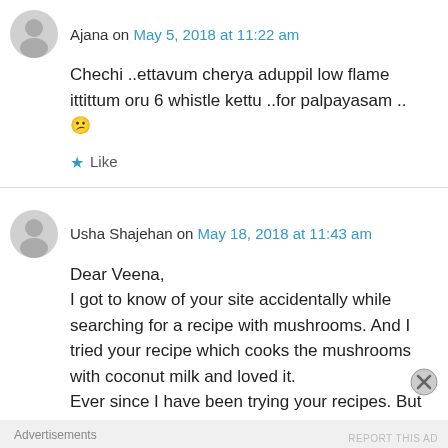Ajana on May 5, 2018 at 11:22 am
Chechi ..ettavum cherya aduppil low flame ittittum oru 6 whistle kettu ..for palpayasam .. 😕
★ Like
Usha Shajehan on May 18, 2018 at 11:43 am
Dear Veena,
I got to know of your site accidentally while searching for a recipe with mushrooms. And I tried your recipe which cooks the mushrooms with coconut milk and loved it.
Ever since I have been trying your recipes. But
Advertisements